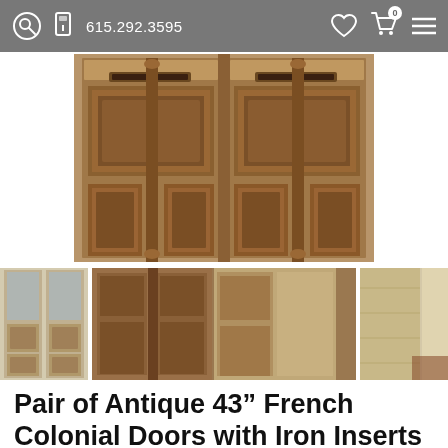615.292.3595
[Figure (photo): Main product photo showing a pair of antique French Colonial wooden doors with ornate carved panels and iron hardware, viewed straight-on. The doors have decorative moldings and raised panel detailing.]
[Figure (photo): Three thumbnail images: first showing full-length view of the door pair with glass upper panels; second showing close-up of decorative carved wood panels with a center column; third showing side/edge detail of the door construction revealing raw wood.]
Pair of Antique 43" French Colonial Doors with Iron Inserts